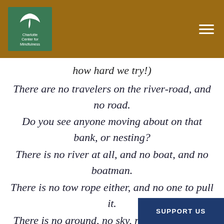[Figure (logo): Charlotte Center for Mindfulness logo — green square with white leaf/bird icon and text]
how hard we try!)
There are no travelers on the river-road, and no road.
Do you see anyone moving about on that bank, or nesting?
There is no river at all, and no boat, and no boatman.
There is no tow rope either, and no one to pull it.
There is no ground, no sky, no time, no bank, no ford! And there is no body, and no mind!
Do you believe there is some place that will make the